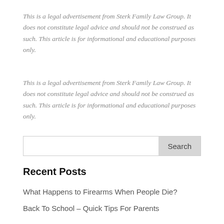This is a legal advertisement from Sterk Family Law Group. It does not constitute legal advice and should not be construed as such. This article is for informational and educational purposes only.
This is a legal advertisement from Sterk Family Law Group. It does not constitute legal advice and should not be construed as such. This article is for informational and educational purposes only.
[Search box]
Recent Posts
What Happens to Firearms When People Die?
Back To School – Quick Tips For Parents